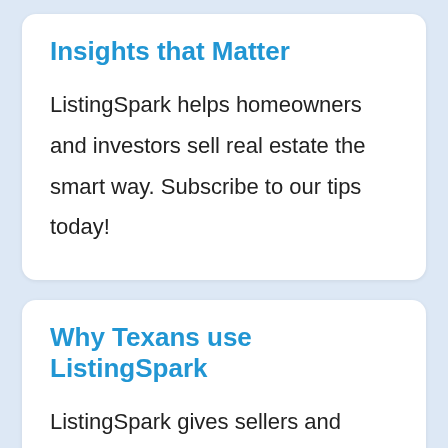Insights that Matter
ListingSpark helps homeowners and investors sell real estate the smart way. Subscribe to our tips today!
Why Texans use ListingSpark
ListingSpark gives sellers and investors all the tools required to sell their house